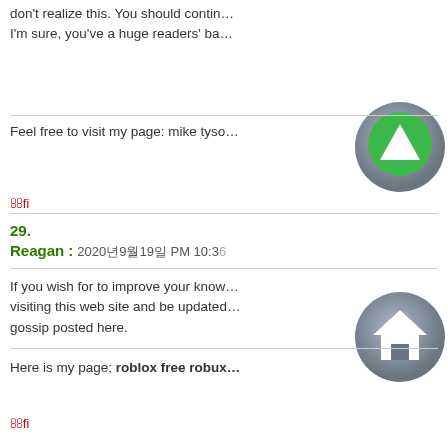don't realize this. You should contin… I'm sure, you've a huge readers' ba…
Feel free to visit my page: mike tyso…
oo
29.
Reagan : 2020년9월19일 PM 10:36
If you wish for to improve your know… visiting this web site and be updated… gossip posted here.
Here is my page; roblox free robux…
oo